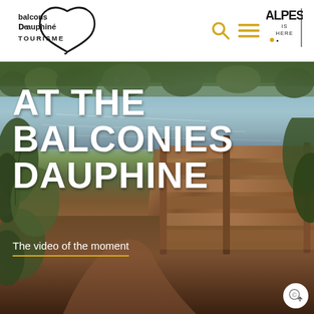[Figure (logo): Balcons du Dauphiné Tourisme logo - stylized heart shape with text]
[Figure (logo): Alpes is Here regional tourism logo]
[Figure (photo): Outdoor nature scene with lake, trees, and wooden fence structure at Balconies Dauphiné]
AT THE BALCONIES DAUPHINE
The video of the moment